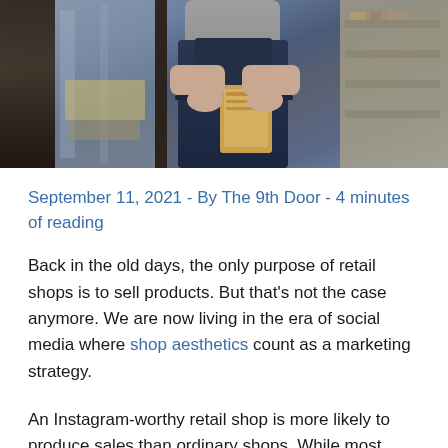[Figure (photo): A person wearing a dark navy apron holding a clipboard or tablet, standing in a retail shop doorway with glass display cases visible in the background.]
September 11, 2021 - By The 9th Door - 4 minutes of reading
Back in the old days, the only purpose of retail shops is to sell products. But that's not the case anymore. We are now living in the era of social media where shop aesthetics count as a marketing strategy.
An Instagram-worthy retail shop is more likely to produce sales than ordinary shops. While most consumers mainly consider product quality and customer service, millennials